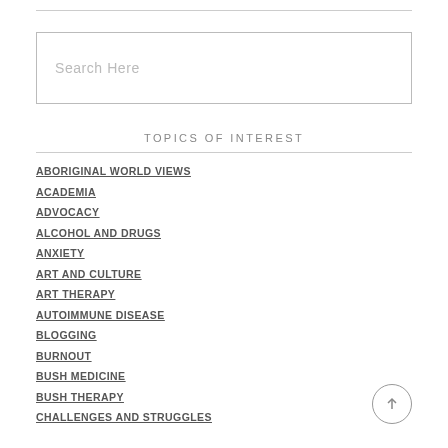[Figure (other): Search input box with placeholder text 'Search Here']
TOPICS OF INTEREST
ABORIGINAL WORLD VIEWS
ACADEMIA
ADVOCACY
ALCOHOL AND DRUGS
ANXIETY
ART AND CULTURE
ART THERAPY
AUTOIMMUNE DISEASE
BLOGGING
BURNOUT
BUSH MEDICINE
BUSH THERAPY
CHALLENGES AND STRUGGLES